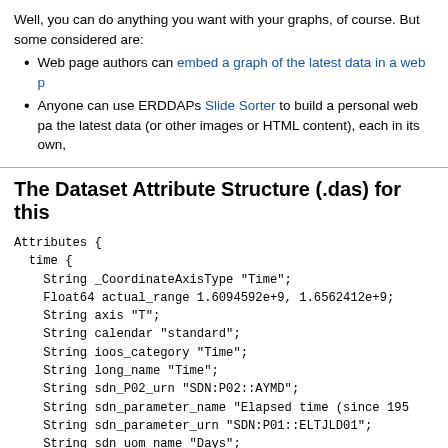Well, you can do anything you want with your graphs, of course. But some considered are:
Web page authors can embed a graph of the latest data in a web p
Anyone can use ERDDAPs Slide Sorter to build a personal web pa the latest data (or other images or HTML content), each in its own,
The Dataset Attribute Structure (.das) for this
Attributes {
  time {
    String _CoordinateAxisType "Time";
    Float64 actual_range 1.6094592e+9, 1.6562412e+9;
    String axis "T";
    String calendar "standard";
    String ioos_category "Time";
    String long_name "Time";
    String sdn_P02_urn "SDN:P02::AYMD";
    String sdn_parameter_name "Elapsed time (since 195
    String sdn_parameter_urn "SDN:P01::ELTJLD01";
    String sdn_uom_name "Days";
    String sdn_uom_urn "SDN:P06::UTAA";
    String standard_name "time";
    String time_origin "01-JAN-1970 00:00:00"